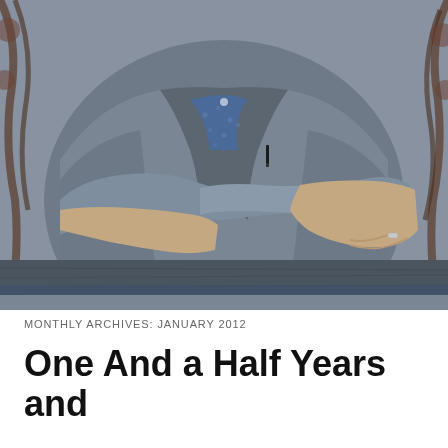[Figure (photo): A person wearing a grey blazer over a blue polka-dot shirt, arms crossed, sitting at a wooden table with iron decorative railings in the background. Only the torso and hands are visible, with a silver ring on one finger and a pen in the breast pocket.]
MONTHLY ARCHIVES: JANUARY 2012
One And a Half Years and